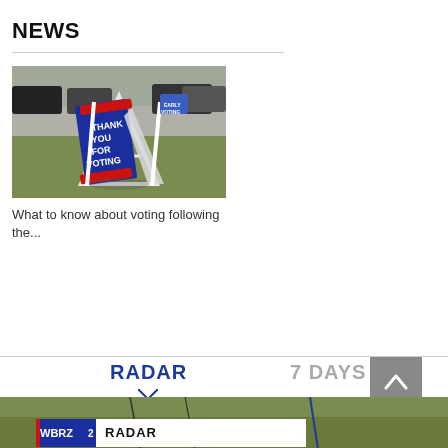NEWS
[Figure (photo): A-frame sign reading 'THANK YOU FOR VOTING' with red and white stripes, outdoors on grass with cars in background]
What to know about voting following the...
RADAR
7 DAYS
[Figure (screenshot): WBRZ radar weather map showing aerial view with WBRZ2 RADAR label at bottom]